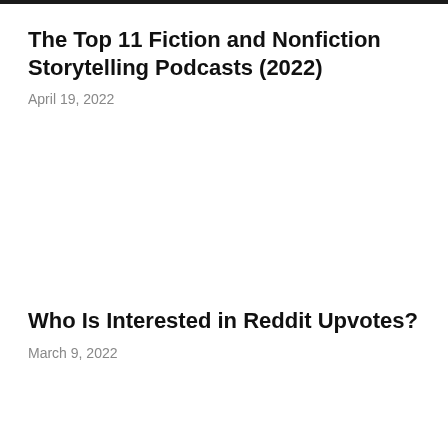The Top 11 Fiction and Nonfiction Storytelling Podcasts (2022)
April 19, 2022
Who Is Interested in Reddit Upvotes?
March 9, 2022